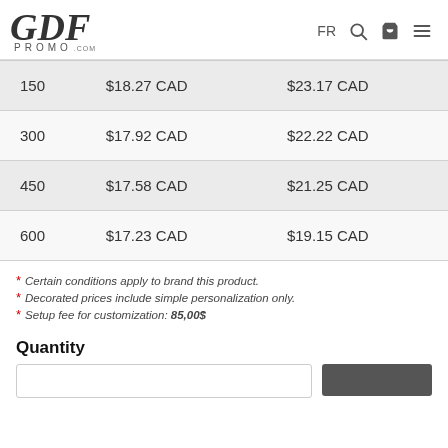[Figure (logo): GDF Promo .com handwritten logo with navigation icons: FR, search, cart, hamburger menu]
| 150 | $18.27 CAD | $23.17 CAD |
| 300 | $17.92 CAD | $22.22 CAD |
| 450 | $17.58 CAD | $21.25 CAD |
| 600 | $17.23 CAD | $19.15 CAD |
* Certain conditions apply to brand this product.
* Decorated prices include simple personalization only.
* Setup fee for customization: 85,00$
Quantity